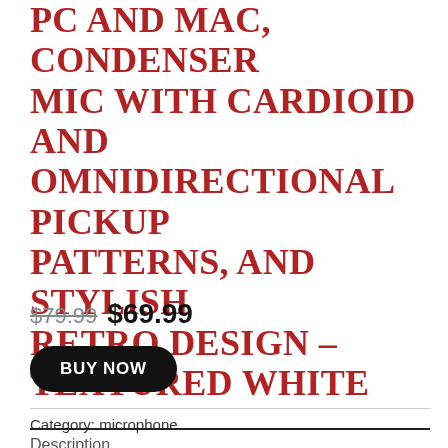PC AND MAC, CONDENSER MIC WITH CARDIOID AND OMNIDIRECTIONAL PICKUP PATTERNS, AND STYLISH RETRO DESIGN – TEXTURED WHITE
$79.99 $69.99
BUY NOW
Category: microphone
Description